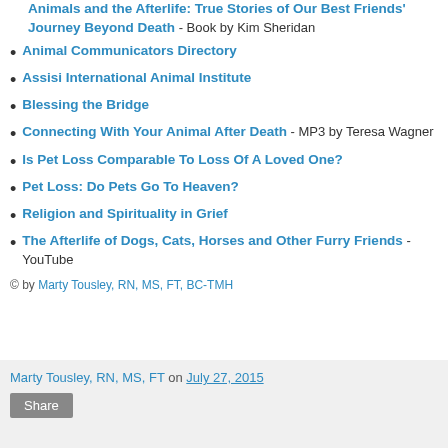Animals and the Afterlife: True Stories of Our Best Friends' Journey Beyond Death - Book by Kim Sheridan
Animal Communicators Directory
Assisi International Animal Institute
Blessing the Bridge
Connecting With Your Animal After Death - MP3 by Teresa Wagner
Is Pet Loss Comparable To Loss Of A Loved One?
Pet Loss: Do Pets Go To Heaven?
Religion and Spirituality in Grief
The Afterlife of Dogs, Cats, Horses and Other Furry Friends - YouTube
© by Marty Tousley, RN, MS, FT, BC-TMH
Marty Tousley, RN, MS, FT on July 27, 2015 Share